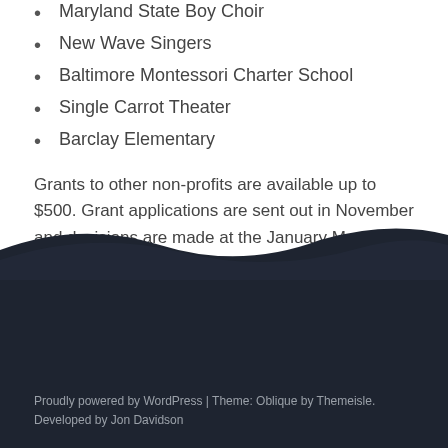Maryland State Boy Choir
New Wave Singers
Baltimore Montessori Charter School
Single Carrot Theater
Barclay Elementary
Grants to other non-profits are available up to $500. Grant applications are sent out in November and decisions are made at the January Meeting.
Market Grant Guidelines
Proudly powered by WordPress | Theme: Oblique by Themeisle. Developed by Jon Davidson